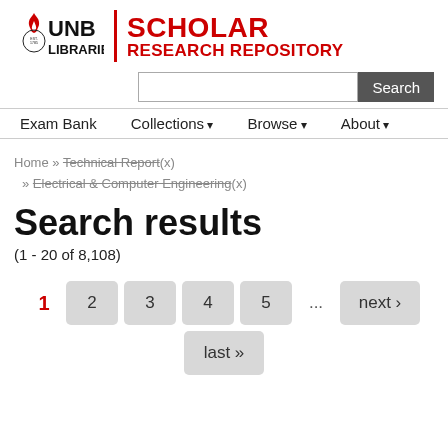[Figure (logo): UNB Libraries | Scholar Research Repository logo with red torch/flame mark, black UNB LIBRARIES text, red vertical bar divider, and red SCHOLAR RESEARCH REPOSITORY text]
Search [input box] Search [button]
Exam Bank   Collections ▾   Browse ▾   About ▾
Home » Technical Report(x) » Electrical & Computer Engineering(x)
Search results
(1 - 20 of 8,108)
1  2  3  4  5  ...  next ›  last »